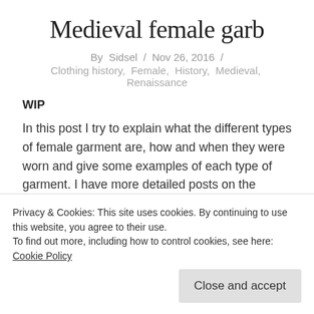Medieval female garb
By Sidsel / Nov 26, 2016 /
Clothing history, Female, History, Medieval, Renaissance
WIP
In this post I try to explain what the different types of female garment are, how and when they were worn and give some examples of each type of garment. I have more detailed posts on the fashion of each centrey here on the blog.
Privacy & Cookies: This site uses cookies. By continuing to use this website, you agree to their use.
To find out more, including how to control cookies, see here: Cookie Policy